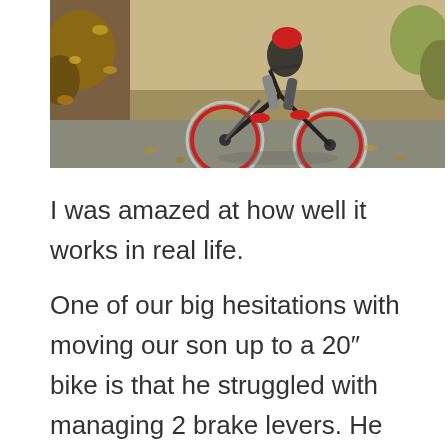[Figure (photo): Child riding a red and black mountain bike on a path covered with autumn leaves, viewed from behind/side angle. The bike has red wheel rims. Fall foliage surrounds the path.]
I was amazed at how well it works in real life. One of our big hesitations with moving our son up to a 20" bike is that he struggled with managing 2 brake levers. He had tried bigger bikes, and always ended up squeezing one lever or the other too hard, and often crashing. After seeing one of his older brothers get pretty scared a few years previously, after flying over